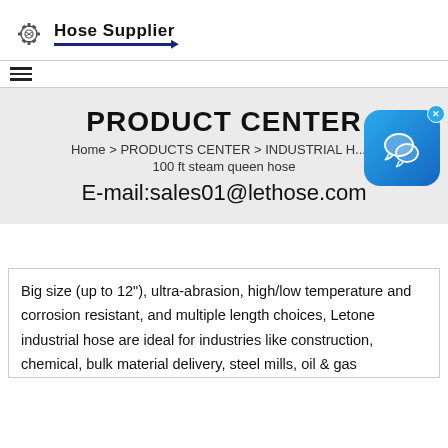[Figure (logo): Hose Supplier logo with gear/bolt icon and bold text 'Hose Supplier' with blue underline]
≡
PRODUCT CENTER
Home > PRODUCTS CENTER > INDUSTRIAL H... > 100 ft steam queen hose
E-mail:sales01@lethose.com
Big size (up to 12"), ultra-abrasion, high/low temperature and corrosion resistant, and multiple length choices, Letone industrial hose are ideal for industries like construction, chemical, bulk material delivery, steel mills, oil & gas